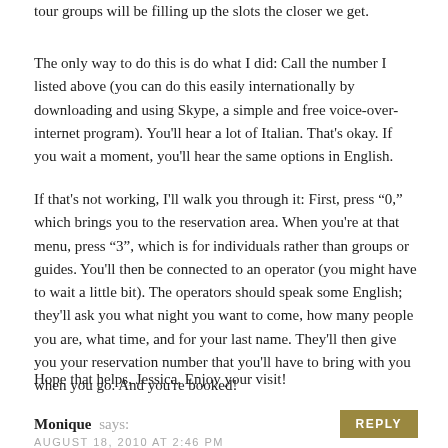tour groups will be filling up the slots the closer we get.
The only way to do this is do what I did: Call the number I listed above (you can do this easily internationally by downloading and using Skype, a simple and free voice-over-internet program). You'll hear a lot of Italian. That's okay. If you wait a moment, you'll hear the same options in English.
If that's not working, I'll walk you through it: First, press “0,” which brings you to the reservation area. When you're at that menu, press “3”, which is for individuals rather than groups or guides. You'll then be connected to an operator (you might have to wait a little bit). The operators should speak some English; they'll ask you what night you want to come, how many people you are, what time, and for your last name. They'll then give you your reservation number that you'll have to bring with you when you go. And you're booked!
Hope that helps, Jessica. Enjoy your visit!
Monique says:
AUGUST 18, 2010 AT 2:46 PM